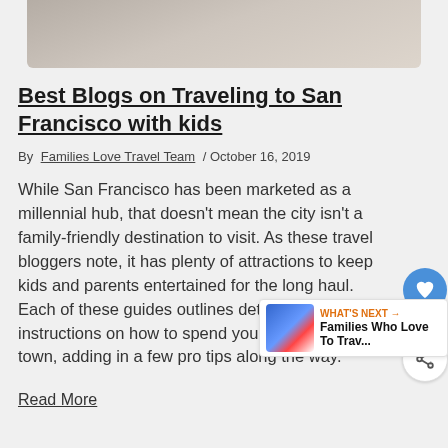[Figure (photo): Partial photo banner at top of page showing blurred background, appears to be a person in light-colored clothing]
Best Blogs on Traveling to San Francisco with kids
By Families Love Travel Team / October 16, 2019
While San Francisco has been marketed as a millennial hub, that doesn't mean the city isn't a family-friendly destination to visit. As these travel bloggers note, it has plenty of attractions to keep kids and parents entertained for the long haul. Each of these guides outlines detailed instructions on how to spend your time around town, adding in a few pro tips along the way.
Read More